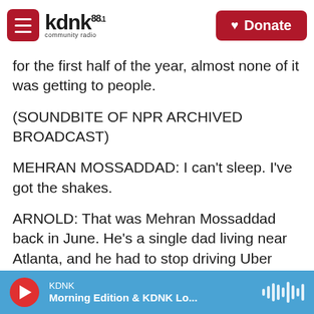kdnk 88.1 community radio — Donate
for the first half of the year, almost none of it was getting to people.
(SOUNDBITE OF NPR ARCHIVED BROADCAST)
MEHRAN MOSSADDAD: I can't sleep. I've got the shakes.
ARNOLD: That was Mehran Mossaddad back in June. He's a single dad living near Atlanta, and he had to stop driving Uber because he couldn't leave his 10-year-old daughter home alone doing remote school. So he fell behind on rent. He should have qualified for that help from Congress. He applied,
KDNK — Morning Edition & KDNK Lo...